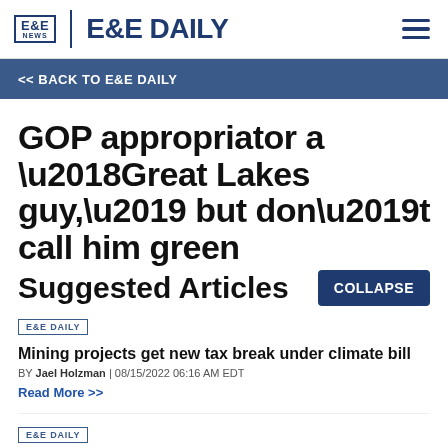E&E NEWS | E&E DAILY
<< BACK TO E&E DAILY
GOP appropriator a ‘Great Lakes guy,’ but don’t call him green
Suggested Articles
E&E DAILY
Mining projects get new tax break under climate bill
BY Jael Holzman | 08/15/2022 06:16 AM EDT
Read More >>
E&E DAILY
'A lot more to do': Lawmakers eye additional climate action